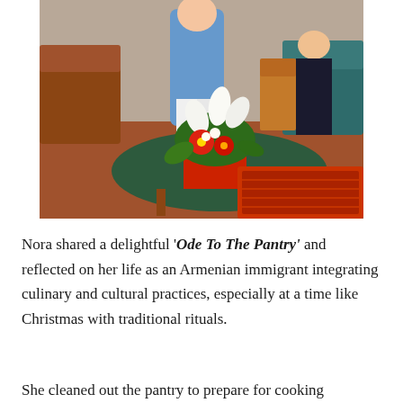[Figure (photo): Indoor scene showing a person in a blue shirt standing near a coffee table with a large floral arrangement featuring white lilies and red flowers in a red container on a green table. A woman in dark clothing is seated in the background on a chair near a teal sofa.]
Nora shared a delightful 'Ode To The Pantry' and reflected on her life as an Armenian immigrant integrating culinary and cultural practices, especially at a time like Christmas with traditional rituals.
She cleaned out the pantry to prepare for cooking